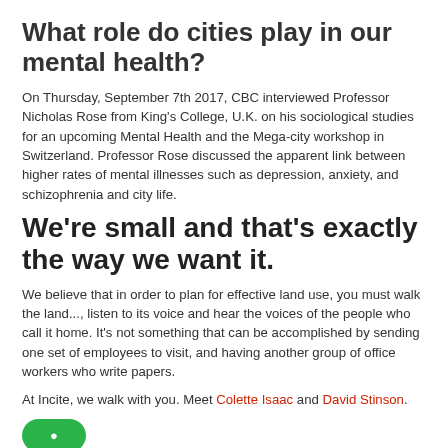What role do cities play in our mental health?
On Thursday, September 7th 2017, CBC interviewed Professor Nicholas Rose from King's College, U.K. on his sociological studies for an upcoming Mental Health and the Mega-city workshop in Switzerland. Professor Rose discussed the apparent link between higher rates of mental illnesses such as depression, anxiety, and schizophrenia and city life.
We're small and that's exactly the way we want it.
We believe that in order to plan for effective land use, you must walk the land..., listen to its voice and hear the voices of the people who call it home. It's not something that can be accomplished by sending one set of employees to visit, and having another group of office workers who write papers.
At Incite, we walk with you. Meet Colette Isaac and David Stinson.